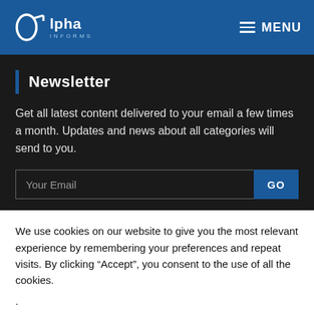Alpha Informs — MENU
Newsletter
Get all latest content delivered to your email a few times a month. Updates and news about all categories will send to you.
Your Email   GO
We use cookies on our website to give you the most relevant experience by remembering your preferences and repeat visits. By clicking “Accept”, you consent to the use of all the cookies.
.
Accept